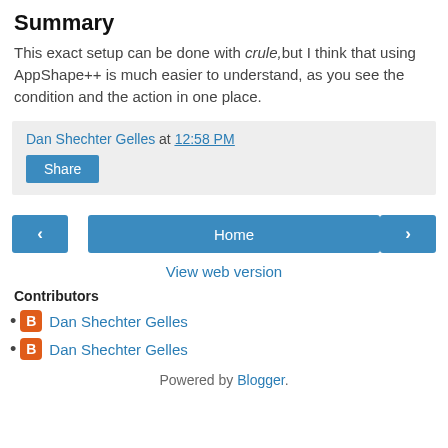Summary
This exact setup can be done with crule, but I think that using AppShape++ is much easier to understand, as you see the condition and the action in one place.
Dan Shechter Gelles at 12:58 PM
Share
< Home >
View web version
Contributors
Dan Shechter Gelles
Dan Shechter Gelles
Powered by Blogger.